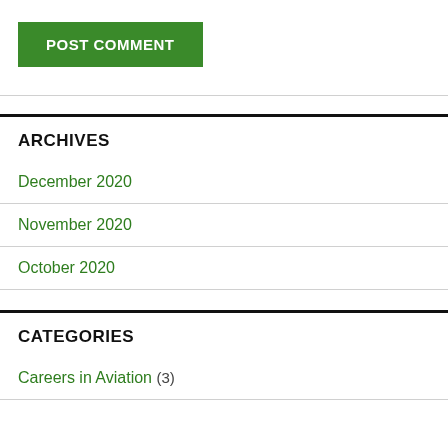POST COMMENT
ARCHIVES
December 2020
November 2020
October 2020
CATEGORIES
Careers in Aviation (3)